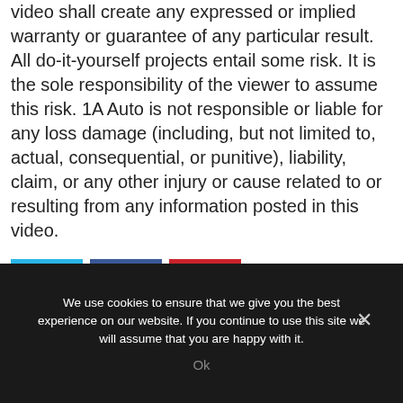applicability of the content. No information contained in this video shall create any expressed or implied warranty or guarantee of any particular result. All do-it-yourself projects entail some risk. It is the sole responsibility of the viewer to assume this risk. 1A Auto is not responsible or liable for any loss damage (including, but not limited to, actual, consequential, or punitive), liability, claim, or any other injury or cause related to or resulting from any information posted in this video.
[Figure (other): Three social media share buttons: Twitter (blue), Facebook (dark blue), Pinterest (red)]
We use cookies to ensure that we give you the best experience on our website. If you continue to use this site we will assume that you are happy with it.
Ok